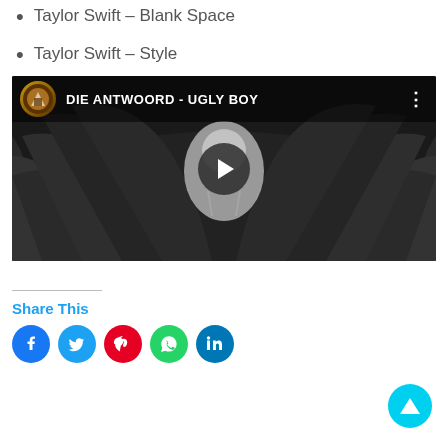Taylor Swift – Blank Space
Taylor Swift – Style
[Figure (screenshot): YouTube video thumbnail for 'DIE ANTWOORD - UGLY BOY' showing a blonde woman with dark wings in black and white, with video title bar and play button overlay]
Share This
[Figure (infographic): Social sharing icons: Facebook (blue), Twitter (blue), Pinterest (red), WhatsApp (green), LinkedIn (dark blue), and a scroll-to-top cyan arrow button]